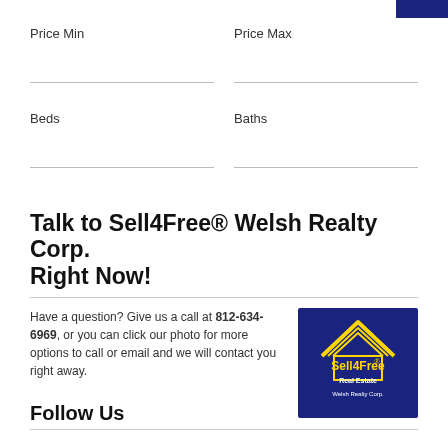Price Min
Price Max
Beds
Baths
Talk to Sell4Free® Welsh Realty Corp. Right Now!
Have a question? Give us a call at 812-634-6969, or you can click our photo for more options to call or email and we will contact you right away.
[Figure (logo): Sell4Free Real Estate Welsh Realty Corp. logo — dark blue background with yellow roof/house icon and white/yellow text]
Follow Us